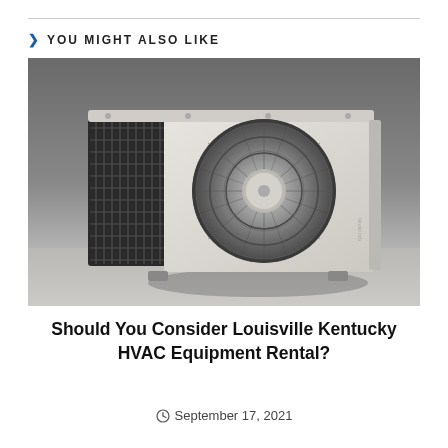YOU MIGHT ALSO LIKE
[Figure (photo): Outdoor HVAC unit / heat pump on a white-to-grey gradient background. The unit is white/cream colored with a large circular fan grille on the front and a black mesh heat exchanger panel on the left side.]
Should You Consider Louisville Kentucky HVAC Equipment Rental?
September 17, 2021